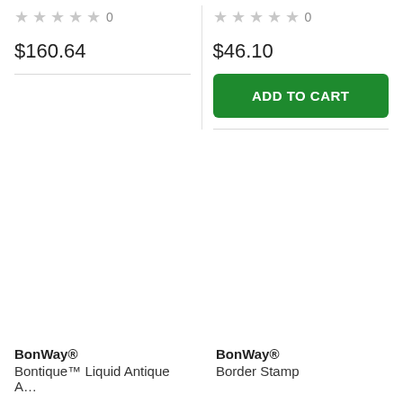★★★★★ 0 (left column, stars)
★★★★★ 0 (right column, stars)
$46.10
ADD TO CART
$160.64
BonWay®
Bontique™ Liquid Antique A…
BonWay®
Border Stamp